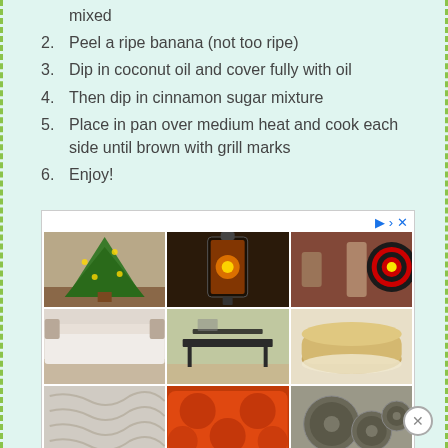mixed
2. Peel a ripe banana (not too ripe)
3. Dip in coconut oil and cover fully with oil
4. Then dip in cinnamon sugar mixture
5. Place in pan over medium heat and cook each side until brown with grill marks
6. Enjoy!
[Figure (other): Advertisement grid showing 9 home decor product images in a 3x3 grid: Christmas tree, decorative lantern, couple playing darts, white bedding, modern table, woven pouf, textured blanket, orange decorative pillow, metal film reel decor. Additional partial row below.]